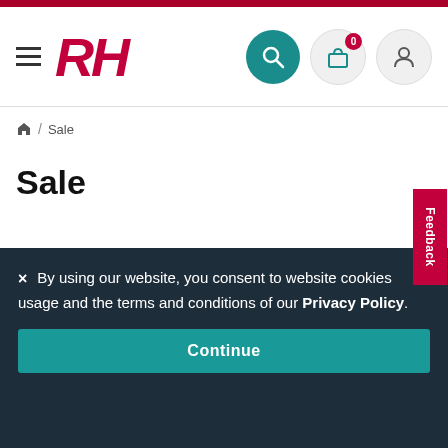RH — Navigation header with logo, hamburger menu, search, cart (0), and user icons
Home / Sale
Sale
Your current filter has returned no results
Feedback
× By using our website, you consent to website cookies usage and the terms and conditions of our Privacy Policy.
Continue